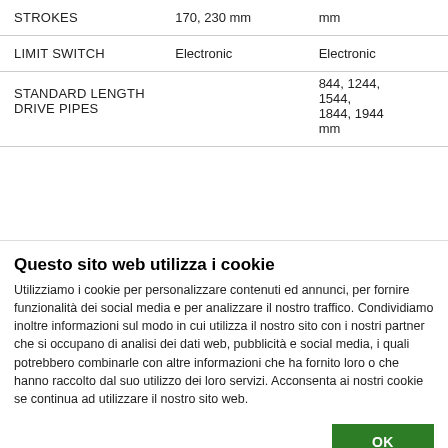|  |  |  |
| --- | --- | --- |
| STROKES | 170, 230 mm | mm |
| LIMIT SWITCH | Electronic | Electronic |
| STANDARD LENGTH
DRIVE PIPES |  | 844, 1244,
1544,
1844, 1944
mm |
Questo sito web utilizza i cookie
Utilizziamo i cookie per personalizzare contenuti ed annunci, per fornire funzionalità dei social media e per analizzare il nostro traffico. Condividiamo inoltre informazioni sul modo in cui utilizza il nostro sito con i nostri partner che si occupano di analisi dei dati web, pubblicità e social media, i quali potrebbero combinarle con altre informazioni che ha fornito loro o che hanno raccolto dal suo utilizzo dei loro servizi. Acconsenta ai nostri cookie se continua ad utilizzare il nostro sito web.